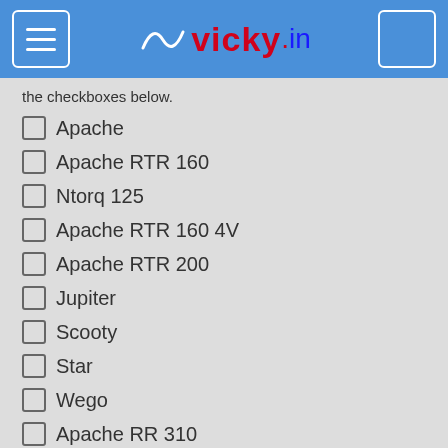vicky.in
the checkboxes below.
Apache
Apache RTR 160
Ntorq 125
Apache RTR 160 4V
Apache RTR 200
Jupiter
Scooty
Star
Wego
Apache RR 310
Victor GLX
Star Sport